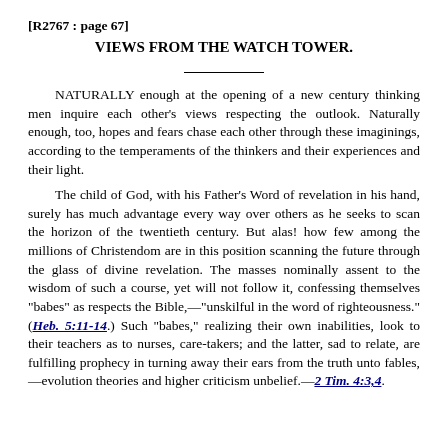[R2767 : page 67]
VIEWS FROM THE WATCH TOWER.
NATURALLY enough at the opening of a new century thinking men inquire each other's views respecting the outlook. Naturally enough, too, hopes and fears chase each other through these imaginings, according to the temperaments of the thinkers and their experiences and their light.
The child of God, with his Father's Word of revelation in his hand, surely has much advantage every way over others as he seeks to scan the horizon of the twentieth century. But alas! how few among the millions of Christendom are in this position scanning the future through the glass of divine revelation. The masses nominally assent to the wisdom of such a course, yet will not follow it, confessing themselves "babes" as respects the Bible,—"unskilful in the word of righteousness." (Heb. 5:11-14.) Such "babes," realizing their own inabilities, look to their teachers as to nurses, care-takers; and the latter, sad to relate, are fulfilling prophecy in turning away their ears from the truth unto fables,—evolution theories and higher criticism unbelief.—2 Tim. 4:3,4.